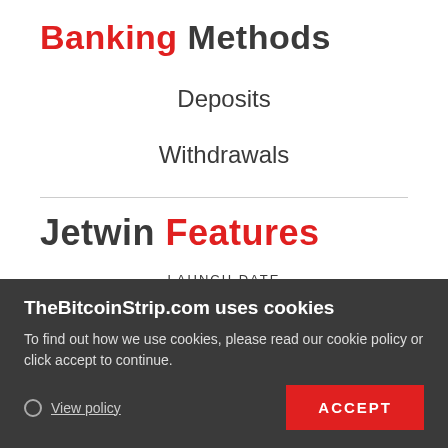Banking Methods
Deposits
Withdrawals
Jetwin Features
LAUNCH DATE
AUGUST 2018
REGISTRATION REQUIREMENTS
TheBitcoinStrip.com uses cookies
To find out how we use cookies, please read our cookie policy or click accept to continue.